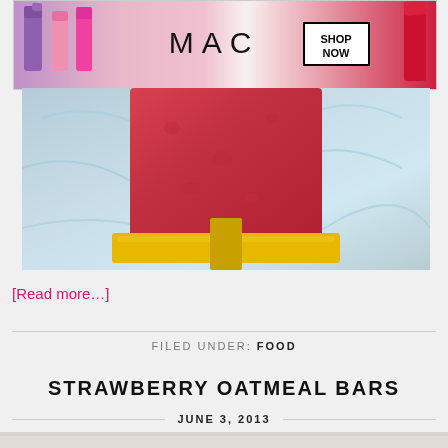[Figure (photo): MAC cosmetics advertisement banner with lipsticks and SHOP NOW box]
[Figure (photo): Close-up photo of a red strawberry popsicle on a yellow popsicle mold holder with blue marbled background]
[Read more…]
FILED UNDER: FOOD
STRAWBERRY OATMEAL BARS
JUNE 3, 2013
[Figure (photo): Partial photo at bottom of page, appears to be food/baking related]